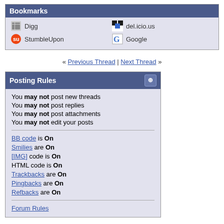Bookmarks
Digg
del.icio.us
StumbleUpon
Google
« Previous Thread | Next Thread »
Posting Rules
You may not post new threads
You may not post replies
You may not post attachments
You may not edit your posts
BB code is On
Smilies are On
[IMG] code is On
HTML code is On
Trackbacks are On
Pingbacks are On
Refbacks are On
Forum Rules
All times are GMT -5. The time now is 11:12pm.
The Official Forum - Archive - Top
Search Engine Friendly URLs by 3.3.0 RC1